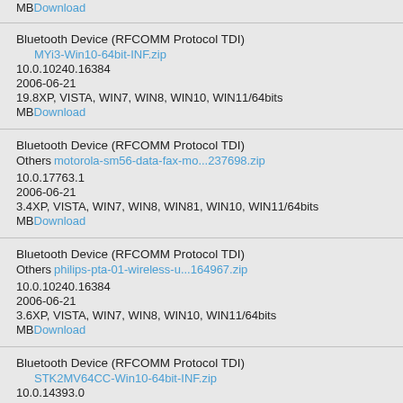MB Download (partial top entry)
Bluetooth Device (RFCOMM Protocol TDI)
MYi3-Win10-64bit-INF.zip
10.0.10240.16384
2006-06-21
19.8XP, VISTA, WIN7, WIN8, WIN10, WIN11/64bits
MBDownload
Bluetooth Device (RFCOMM Protocol TDI)
Others motorola-sm56-data-fax-mo...237698.zip
10.0.17763.1
2006-06-21
3.4XP, VISTA, WIN7, WIN8, WIN81, WIN10, WIN11/64bits
MBDownload
Bluetooth Device (RFCOMM Protocol TDI)
Others philips-pta-01-wireless-u...164967.zip
10.0.10240.16384
2006-06-21
3.6XP, VISTA, WIN7, WIN8, WIN10, WIN11/64bits
MBDownload
Bluetooth Device (RFCOMM Protocol TDI)
STK2MV64CC-Win10-64bit-INF.zip
10.0.14393.0